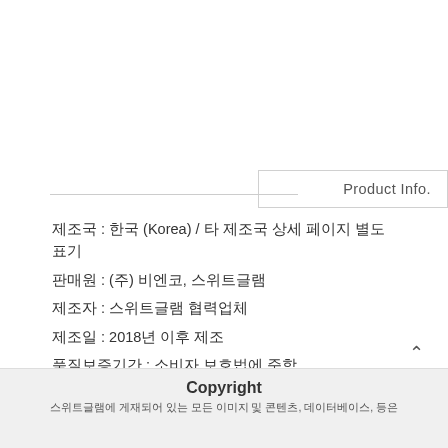Product Info.
제조국 : 한국 (Korea) / 타 제조국 상세 페이지 별도 표기
판매원 : (주) 비엔코, 스위트글램
제조자 : 스위트글램 협력업체
제조일 : 2018년 이후 제조
품질보증기간 : 소비자 보호법에 준함
A/S 안내 : 스위트글램 고객센터 (1566-7966)
Copyright
스위트글램에 게재되어 있는 모든 이미지 및 콘텐츠, 데이터베이스, 등은